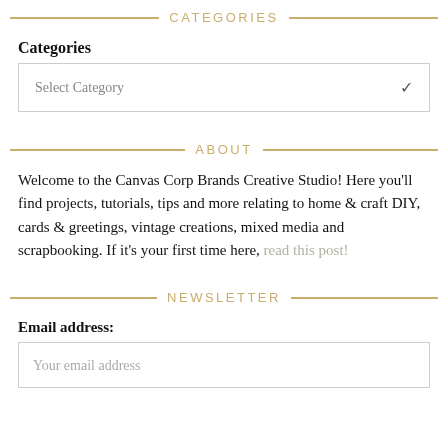CATEGORIES
Categories
Select Category
ABOUT
Welcome to the Canvas Corp Brands Creative Studio! Here you'll find projects, tutorials, tips and more relating to home & craft DIY, cards & greetings, vintage creations, mixed media and scrapbooking. If it's your first time here, read this post!
NEWSLETTER
Email address:
Your email address